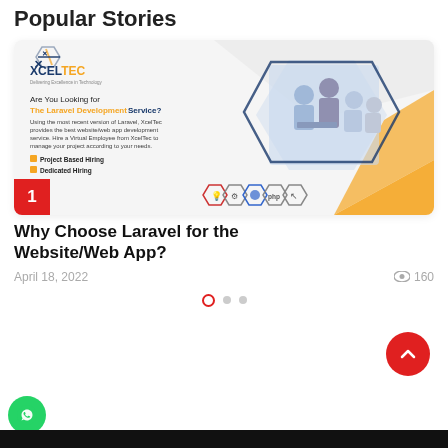Popular Stories
[Figure (screenshot): XcelTec Laravel Development Service promotional banner with team photo, technology icons, and number 1 badge]
Why Choose Laravel for the Website/Web App?
April 18, 2022   160